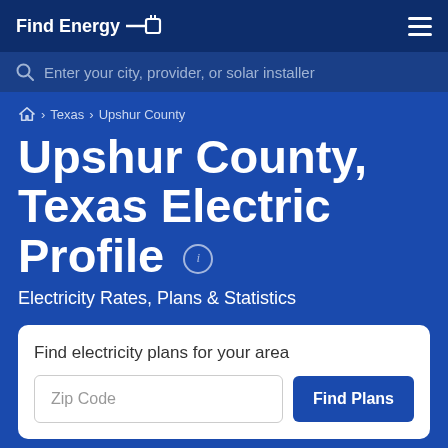Find Energy
Enter your city, provider, or solar installer
Home › Texas › Upshur County
Upshur County, Texas Electric Profile
Electricity Rates, Plans & Statistics
Find electricity plans for your area
Zip Code
Find Plans